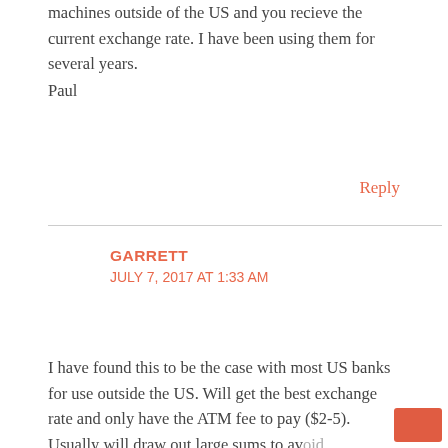machines outside of the US and you recieve the current exchange rate. I have been using them for several years.
Paul
Reply
GARRETT
JULY 7, 2017 AT 1:33 AM
I have found this to be the case with most US banks for use outside the US. Will get the best exchange rate and only have the ATM fee to pay ($2-5). Usually will draw out large sums to av... having to use the ATM too often and thus avoid too many ATM fees